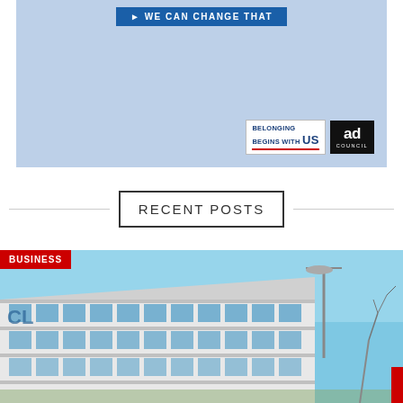[Figure (illustration): Light blue advertisement banner with 'WE CAN CHANGE THAT' button and logos for 'Belonging Begins With US' and 'Ad Council']
RECENT POSTS
[Figure (photo): Photo of a modern commercial office building with large windows under a blue sky, with a 'BUSINESS' category tag in the top-left corner]